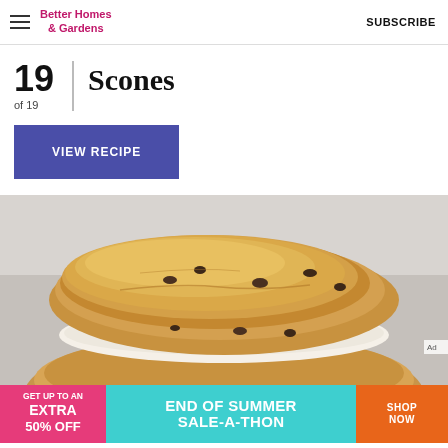Better Homes & Gardens  SUBSCRIBE
19 of 19  Scones
VIEW RECIPE
[Figure (photo): A close-up photo of a scone split in half and filled with cream, showing raisins and golden-brown crust, on a light gray background.]
[Figure (infographic): Advertisement banner: GET UP TO AN EXTRA 50% OFF  |  END OF SUMMER SALE-A-THON  |  SHOP NOW]